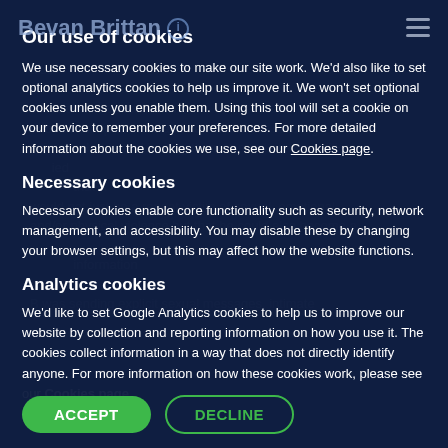Bevan Brittan
Our use of cookies
We use necessary cookies to make our site work. We'd also like to set optional analytics cookies to help us improve it. We won't set optional cookies unless you enable them. Using this tool will set a cookie on your device to remember your preferences. For more detailed information about the cookies we use, see our Cookies page.
Necessary cookies
Necessary cookies enable core functionality such as security, network management, and accessibility. You may disable these by changing your browser settings, but this may affect how the website functions.
Analytics cookies
We'd like to set Google Analytics cookies to help us to improve our website by collection and reporting information on how you use it. The cookies collect information in a way that does not directly identify anyone. For more information on how these cookies work, please see our Cookies page.